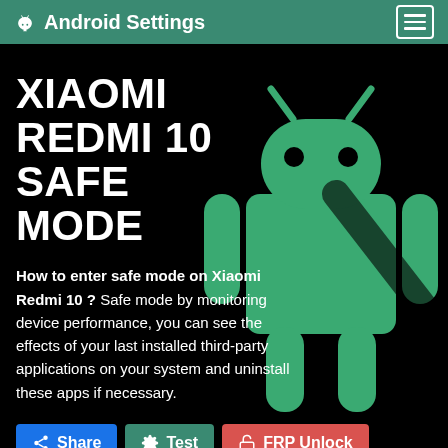Android Settings
XIAOMI REDMI 10 SAFE MODE
How to enter safe mode on Xiaomi Redmi 10 ? Safe mode by monitoring device performance, you can see the effects of your last installed third-party applications on your system and uninstall these apps if necessary.
Share
Test
FRP Unlock
e.g. Samsung Galaxy A50